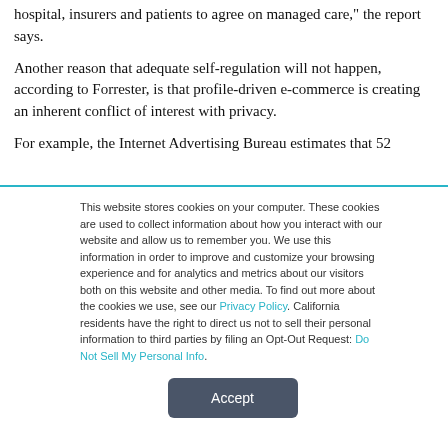hospital, insurers and patients to agree on managed care," the report says.
Another reason that adequate self-regulation will not happen, according to Forrester, is that profile-driven e-commerce is creating an inherent conflict of interest with privacy.
For example, the Internet Advertising Bureau estimates that 52
This website stores cookies on your computer. These cookies are used to collect information about how you interact with our website and allow us to remember you. We use this information in order to improve and customize your browsing experience and for analytics and metrics about our visitors both on this website and other media. To find out more about the cookies we use, see our Privacy Policy. California residents have the right to direct us not to sell their personal information to third parties by filing an Opt-Out Request: Do Not Sell My Personal Info.
Accept